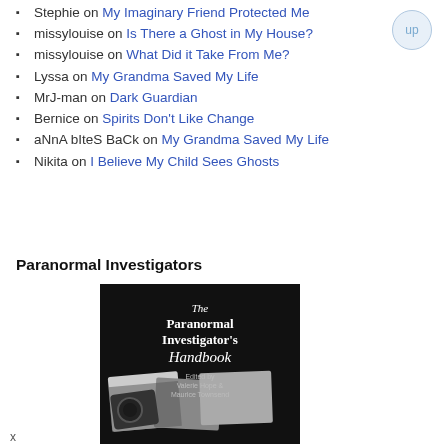Stephie on My Imaginary Friend Protected Me
missylouise on Is There a Ghost in My House?
missylouise on What Did it Take From Me?
Lyssa on My Grandma Saved My Life
MrJ-man on Dark Guardian
Bernice on Spirits Don't Like Change
aNnA bIteS BaCk on My Grandma Saved My Life
Nikita on I Believe My Child Sees Ghosts
Paranormal Investigators
[Figure (photo): Book cover of 'The Paranormal Investigator's Handbook' edited by Valerie Hope & Maurice Townsend, showing a black cover with photos of investigation equipment and documents.]
x